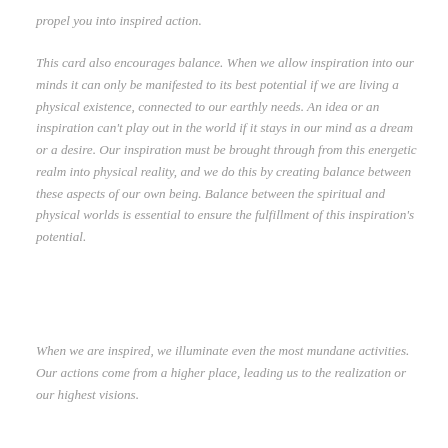propel you into inspired action.
This card also encourages balance. When we allow inspiration into our minds it can only be manifested to its best potential if we are living a physical existence, connected to our earthly needs. An idea or an inspiration can't play out in the world if it stays in our mind as a dream or a desire. Our inspiration must be brought through from this energetic realm into physical reality, and we do this by creating balance between these aspects of our own being. Balance between the spiritual and physical worlds is essential to ensure the fulfillment of this inspiration's potential.
When we are inspired, we illuminate even the most mundane activities. Our actions come from a higher place, leading us to the realization or our highest visions.